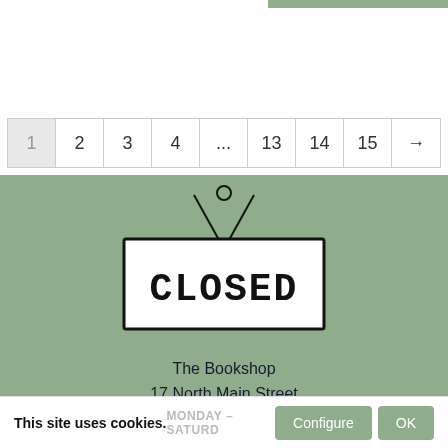[Figure (other): Pagination bar showing pages 1, 2, 3, 4, ..., 13, 14, 15, and a next arrow. Page 1 is highlighted/active.]
[Figure (illustration): Illustrated closed shop sign hanging from a string on a sage green background. The sign reads CLOSED in bold decorative letters.]
The Bookshop
17 North Main Street
Wigtown
Scotland
DG8 9HL
This site uses cookies.
MONDAY – SATURD...
Configure
OK